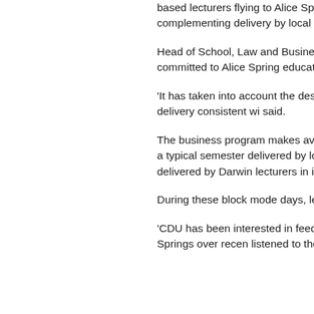based lecturers flying to Alice Springs on a regular basis, complementing delivery by local lecturers.
Head of School, Law and Business, De... the School is committed to Alice Springs education and students.
'It has taken into account the desires o... have full service delivery consistent wi... said.
The business program makes availabl... each semester and a typical semester ... delivered by local lecturers with the re... delivered by Darwin lecturers in intens...
During these block mode days, lecture... tutor.
'CDU has been interested in feedback ... experience in Alice Springs over recen... listened to the customer and this is wh...